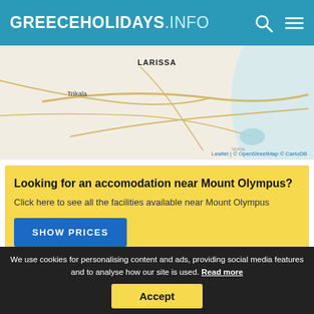GREECEHOLIDAYS.INFO
[Figure (map): Map showing region around Mount Olympus, Greece, with labels for LARISSA and Trikala. Attribution: Leaflet | © OpenStreetMap © CartoDB]
Looking for an accomodation near Mount Olympus?
Click here to see all the facilities available near Mount Olympus
SHOW PRICES
We use cookies for personalising content and ads, providing social media features and to analyse how our site is used. Read more
Accept